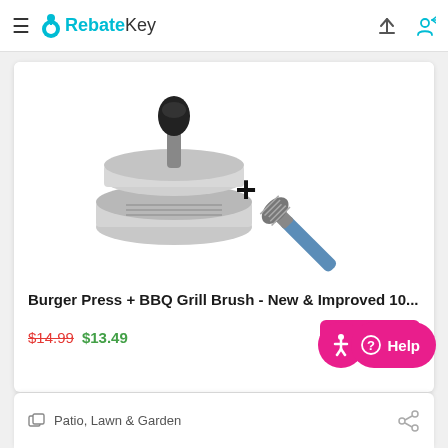RebateKey
[Figure (photo): Product image showing a burger press (aluminum disc mold with black handle knob) plus a BBQ grill brush (metal bristle head with blue handle), separated by a large plus sign.]
Burger Press + BBQ Grill Brush - New & Improved 10...
$14.99 $13.49
10% OFF
Patio, Lawn & Garden